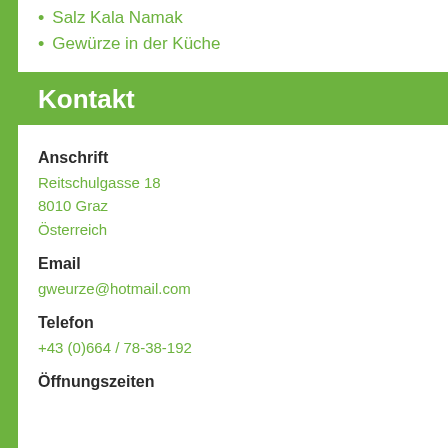Salz Kala Namak
Gewürze in der Küche
Kontakt
Anschrift
Reitschulgasse 18
8010 Graz
Österreich
Email
gweurze@hotmail.com
Telefon
+43 (0)664 / 78-38-192
Öffnungszeiten